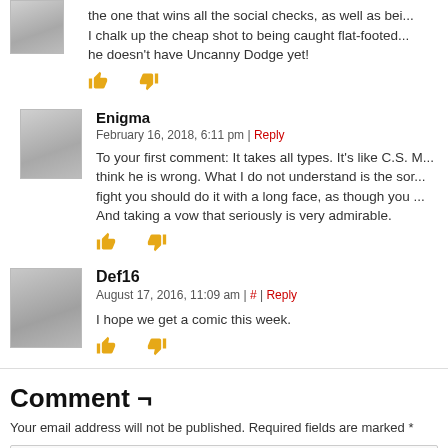the one that wins all the social checks, as well as bei... I chalk up the cheap shot to being caught flat-footed... he doesn't have Uncanny Dodge yet!
[thumbs up] [thumbs down]
Enigma
February 16, 2018, 6:11 pm | Reply
To your first comment: It takes all types. It's like C.S. M... think he is wrong. What I do not understand is the sor... fight you should do it with a long face, as though you ... And taking a vow that seriously is very admirable.
[thumbs up] [thumbs down]
Def16
August 17, 2016, 11:09 am | # | Reply
I hope we get a comic this week.
[thumbs up] [thumbs down]
Comment ¬
Your email address will not be published. Required fields are marked *